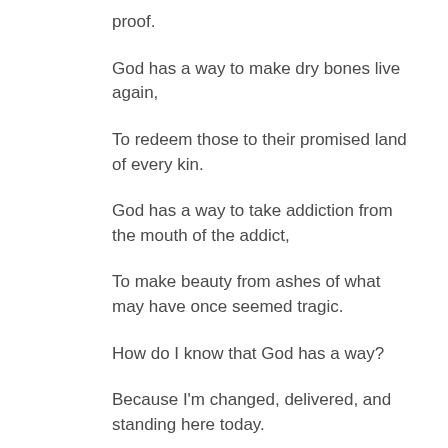proof.
God has a way to make dry bones live again,
To redeem those to their promised land of every kin.
God has a way to take addiction from the mouth of the addict,
To make beauty from ashes of what may have once seemed tragic.
How do I know that God has a way?
Because I'm changed, delivered, and standing here today.
Just in case you're wondering if He can do the same for you,